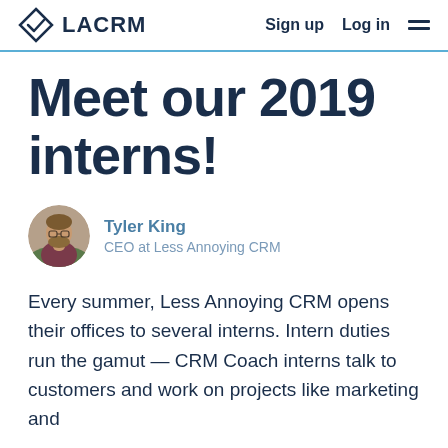LACRM  Sign up  Log in
Meet our 2019 interns!
[Figure (photo): Circular avatar photo of Tyler King, CEO at Less Annoying CRM — a man with glasses and a beard outdoors]
Tyler King
CEO at Less Annoying CRM
Every summer, Less Annoying CRM opens their offices to several interns. Intern duties run the gamut — CRM Coach interns talk to customers and work on projects like marketing and